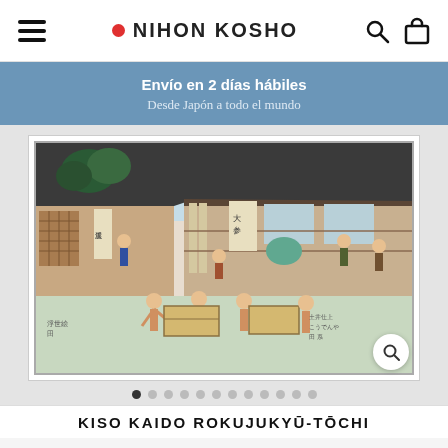Nihon Kosho — Navigation header with hamburger menu, logo, search and bag icons
Envío en 2 días hábiles
Desde Japón a todo el mundo
[Figure (photo): Japanese ukiyo-e woodblock print showing a street scene with traditional shops, merchants, and workers carrying goods, in style of Hiroshige.]
KISO KAIDO ROKUJUKYŪ-TŌCHI